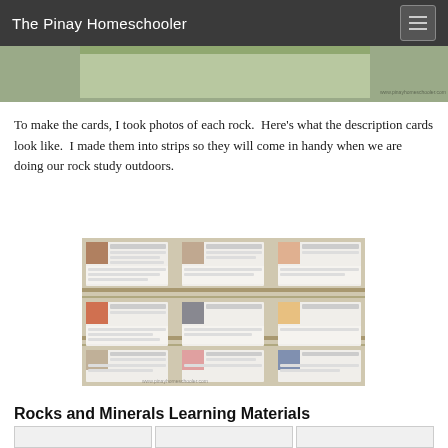The Pinay Homeschooler
[Figure (photo): Top portion of a website banner/photo partially visible at top of page]
To make the cards, I took photos of each rock.  Here’s what the description cards look like.  I made them into strips so they will come in handy when we are doing our rock study outdoors.
[Figure (photo): Photo of rock and mineral description cards laid out on a woven mat surface. Cards show photos of various rocks and minerals with text descriptions arranged in a grid pattern. Watermark reads www.pinayhomeschooler.com]
Rocks and Minerals Learning Materials